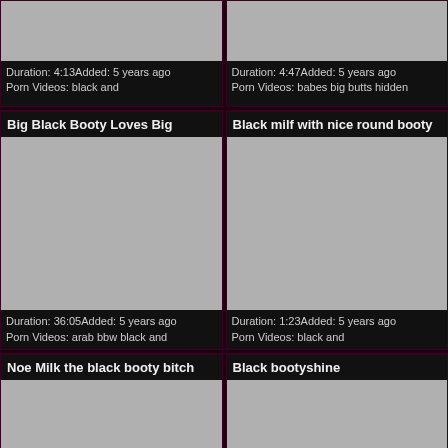[Figure (screenshot): Video thumbnail placeholder (grey) - top left card, cropped]
Duration: 4:13Added: 5 years ago
Porn Videos: black and
[Figure (screenshot): Video thumbnail placeholder (grey) - top right card, cropped]
Duration: 4:47Added: 5 years ago
Porn Videos: babes big butts hidden
Big Black Booty Loves Big
[Figure (screenshot): Video thumbnail placeholder (grey) - middle left card]
Duration: 36:05Added: 5 years ago
Porn Videos: arab bbw black and
Black milf with nice round booty
[Figure (screenshot): Video thumbnail placeholder (grey) - middle right card]
Duration: 1:23Added: 5 years ago
Porn Videos: black and
Noe Milk the black booty bitch
Black bootyshine
[Figure (screenshot): Video thumbnail placeholder (grey) - bottom left card, cropped]
[Figure (screenshot): Video thumbnail placeholder (grey) - bottom right card, cropped]